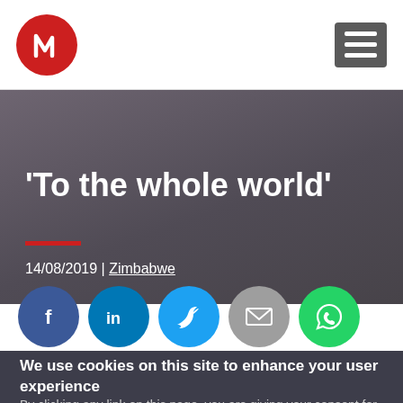[Figure (logo): Red circular logo with white stylized 'M' or music note icon]
[Figure (other): Hamburger menu icon — three white horizontal lines on dark grey square background]
'To the whole world'
14/08/2019 | Zimbabwe
[Figure (other): Social sharing buttons: Facebook (dark blue f), LinkedIn (blue in), Twitter (light blue bird), Email (grey envelope), WhatsApp (green phone)]
We use cookies on this site to enhance your user experience
By clicking any link on this page, you are giving your consent for us to set cookies.
Our privacy policy has recently been revised. Make sure you've read our